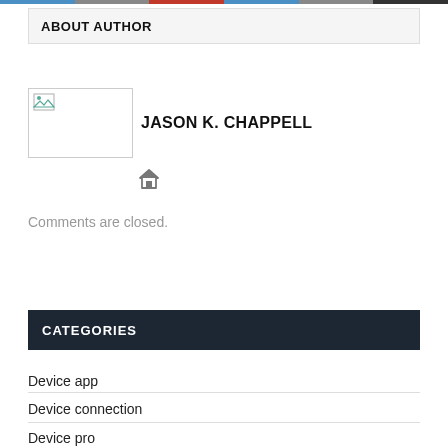ABOUT AUTHOR
JASON K. CHAPPELL
[Figure (illustration): Home icon (house symbol) in gray]
Comments are closed.
CATEGORIES
Device app
Device connection
Device production